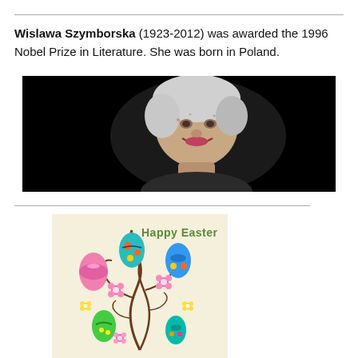Wislawa Szymborska (1923-2012) was awarded the 1996 Nobel Prize in Literature. She was born in Poland.
[Figure (photo): Black and white photograph of elderly woman with short white hair, smiling, against a dark background.]
[Figure (illustration): Happy Easter greeting card illustration with colorful Easter eggs, flowers, and decorative swirls on a light yellow background.]